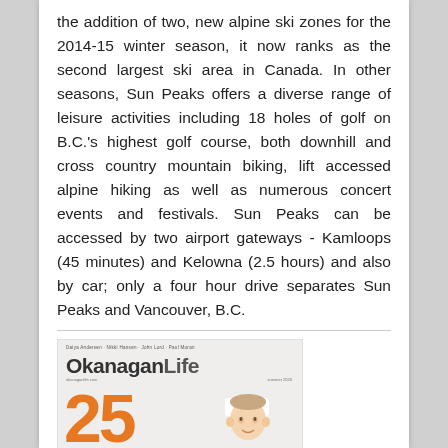the addition of two, new alpine ski zones for the 2014-15 winter season, it now ranks as the second largest ski area in Canada. In other seasons, Sun Peaks offers a diverse range of leisure activities including 18 holes of golf on B.C.'s highest golf course, both downhill and cross country mountain biking, lift accessed alpine hiking as well as numerous concert events and festivals. Sun Peaks can be accessed by two airport gateways - Kamloops (45 minutes) and Kelowna (2.5 hours) and also by car; only a four hour drive separates Sun Peaks and Vancouver, B.C.
[Figure (photo): Magazine cover of Okanagan Life, Summer issue, featuring a chef in white uniform with arms crossed, large orange '25 years BEST' text overlay, names listed at top]